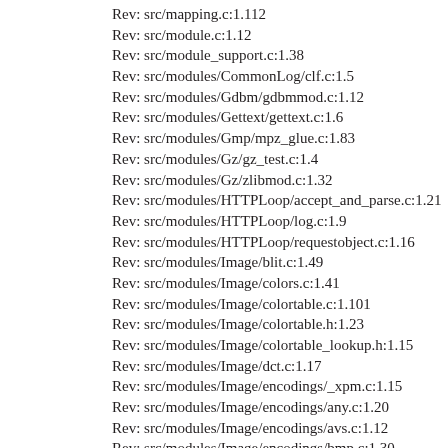Rev: src/mapping.c:1.112
Rev: src/module.c:1.12
Rev: src/module_support.c:1.38
Rev: src/modules/CommonLog/clf.c:1.5
Rev: src/modules/Gdbm/gdbmmod.c:1.12
Rev: src/modules/Gettext/gettext.c:1.6
Rev: src/modules/Gmp/mpz_glue.c:1.83
Rev: src/modules/Gz/gz_test.c:1.4
Rev: src/modules/Gz/zlibmod.c:1.32
Rev: src/modules/HTTPLoop/accept_and_parse.c:1.21
Rev: src/modules/HTTPLoop/log.c:1.9
Rev: src/modules/HTTPLoop/requestobject.c:1.16
Rev: src/modules/Image/blit.c:1.49
Rev: src/modules/Image/colors.c:1.41
Rev: src/modules/Image/colortable.c:1.101
Rev: src/modules/Image/colortable.h:1.23
Rev: src/modules/Image/colortable_lookup.h:1.15
Rev: src/modules/Image/dct.c:1.17
Rev: src/modules/Image/encodings/_xpm.c:1.15
Rev: src/modules/Image/encodings/any.c:1.20
Rev: src/modules/Image/encodings/avs.c:1.12
Rev: src/modules/Image/encodings/bmp.c:1.30
Rev: src/modules/Image/encodings/dsi.c:1.3
Rev: src/modules/Image/encodings/gd.c:1.5
Rev: src/modules/Image/encodings/hrz.c:1.6